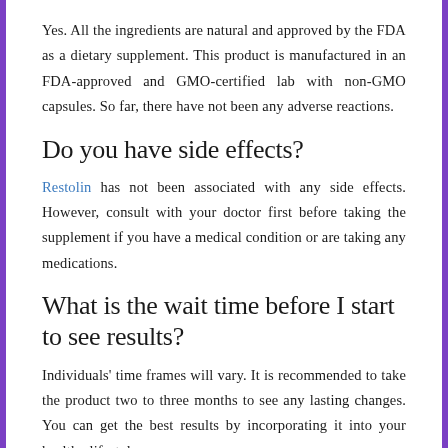Yes. All the ingredients are natural and approved by the FDA as a dietary supplement. This product is manufactured in an FDA-approved and GMO-certified lab with non-GMO capsules. So far, there have not been any adverse reactions.
Do you have side effects?
Restolin has not been associated with any side effects. However, consult with your doctor first before taking the supplement if you have a medical condition or are taking any medications.
What is the wait time before I start to see results?
Individuals' time frames will vary. It is recommended to take the product two to three months to see any lasting changes. You can get the best results by incorporating it into your healthy lifestyle.